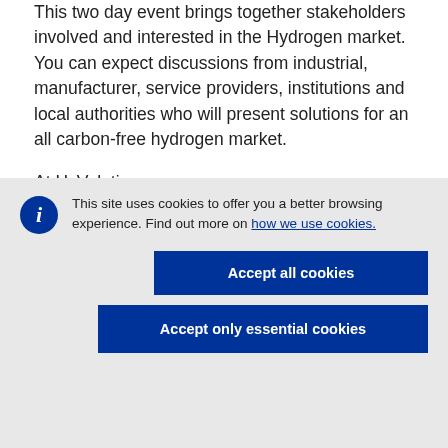This two day event brings together stakeholders involved and interested in the Hydrogen market. You can expect discussions from industrial, manufacturer, service providers, institutions and local authorities who will present solutions for an all carbon-free hydrogen market.
At HyVolution, you can
This site uses cookies to offer you a better browsing experience. Find out more on how we use cookies.
Accept all cookies
Accept only essential cookies